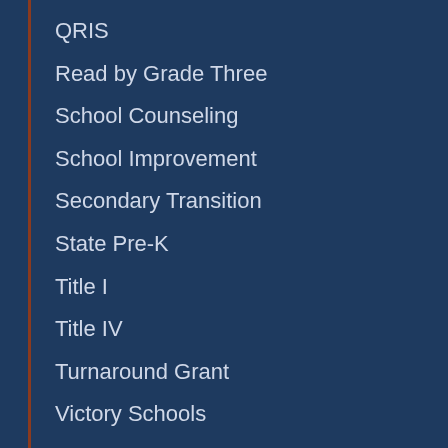QRIS
Read by Grade Three
School Counseling
School Improvement
Secondary Transition
State Pre-K
Title I
Title IV
Turnaround Grant
Victory Schools
Zoom
21st Century